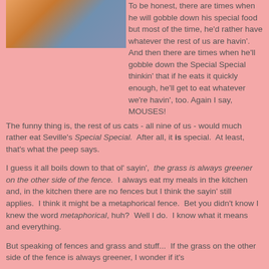[Figure (photo): Close-up photo of an orange/ginger cat with blue fabric in background]
To be honest, there are times when he will gobble down his special food but most of the time, he'd rather have whatever the rest of us are havin'.  And then there are times when he'll gobble down the Special Special thinkin' that if he eats it quickly enough, he'll get to eat whatever we're havin', too. Again I say, MOUSES!
The funny thing is, the rest of us cats - all nine of us - would much rather eat Seville's Special Special.  After all, it is special.  At least, that's what the peep says.
I guess it all boils down to that ol' sayin',  the grass is always greener on the other side of the fence.  I always eat my meals in the kitchen and, in the kitchen there are no fences but I think the sayin' still applies.  I think it might be a metaphorical fence.  Bet you didn't know I knew the word metaphorical, huh?  Well I do.  I know what it means and everything.
But speaking of fences and grass and stuff...  If the grass on the other side of the fence is always greener, I wonder if it's